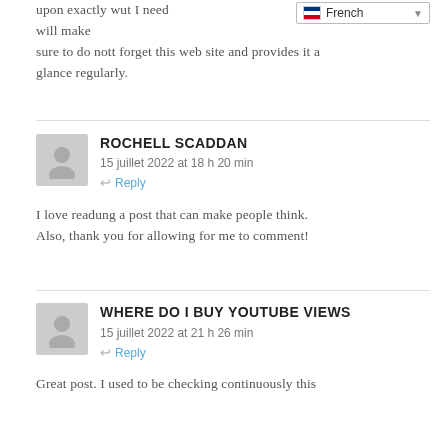upon exactly wut I need will make sure to do nott forget this web site and provides it a glance regularly.
ROCHELL SCADDAN
15 juillet 2022 at 18 h 20 min
Reply

I love readung a post that can make people think. Also, thank you for allowing for me to comment!
WHERE DO I BUY YOUTUBE VIEWS
15 juillet 2022 at 21 h 26 min
Reply

Great post. I used to be checking continuously this